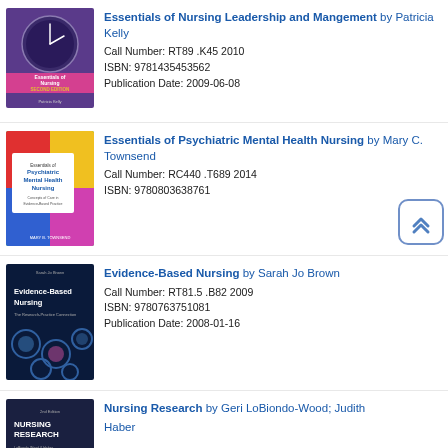[Figure (illustration): Book cover: Essentials of Nursing Leadership and Management, Second Edition by Patricia Kelly. Purple cover with clock and pink banner.]
Essentials of Nursing Leadership and Mangement by Patricia Kelly
Call Number: RT89 .K45 2010
ISBN: 9781435453562
Publication Date: 2009-06-08
[Figure (illustration): Book cover: Essentials of Psychiatric Mental Health Nursing by Mary B. Townsend. Colorful cover with white text box.]
Essentials of Psychiatric Mental Health Nursing by Mary C. Townsend
Call Number: RC440 .T689 2014
ISBN: 9780803638761
[Figure (illustration): Book cover: Evidence-Based Nursing by Sarah Jo Brown. Dark blue cover with circles pattern.]
Evidence-Based Nursing by Sarah Jo Brown
Call Number: RT81.5 .B82 2009
ISBN: 9780763751081
Publication Date: 2008-01-16
[Figure (illustration): Book cover: Nursing Research by Geri LoBiondo-Wood and Judith Haber. Dark cover with text.]
Nursing Research by Geri LoBiondo-Wood; Judith Haber